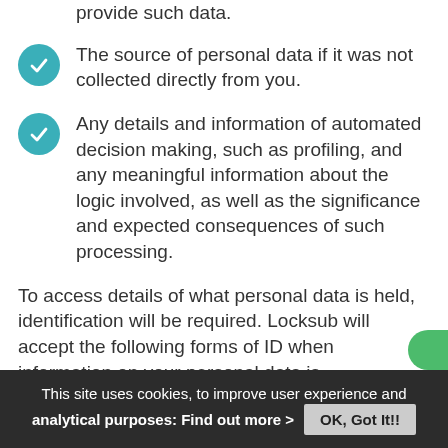provide such data.
The source of personal data if it was not collected directly from you.
Any details and information of automated decision making, such as profiling, and any meaningful information about the logic involved, as well as the significance and expected consequences of such processing.
To access details of what personal data is held, identification will be required. Locksub will accept the following forms of ID when information on your personal data is
This site uses cookies, to improve user experience and analytical purposes:   Find out more >   OK, Got It!!